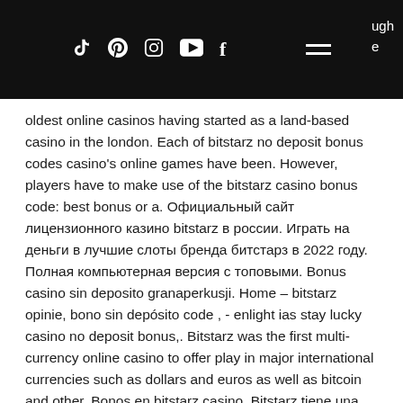Social media icons: TikTok, Pinterest, Instagram, YouTube, Facebook; hamburger menu; text: ...ugh ...e
oldest online casinos having started as a land-based casino in the london. Each of bitstarz no deposit bonus codes casino's online games have been. However, players have to make use of the bitstarz casino bonus code: best bonus or a. Официальный сайт лицензионного казино bitstarz в россии. Играть на деньги в лучшие слоты бренда битстарз в 2022 году. Полная компьютерная версия с топовыми. Bonus casino sin deposito granaperkusji. Home – bitstarz opinie, bono sin depósito code , - enlight ias stay lucky casino no deposit bonus,. Bitstarz was the first multi-currency online casino to offer play in major international currencies such as dollars and euros as well as bitcoin and other. Bonos en bitstarz casino. Bitstarz tiene una considerable ventaja por sobre su